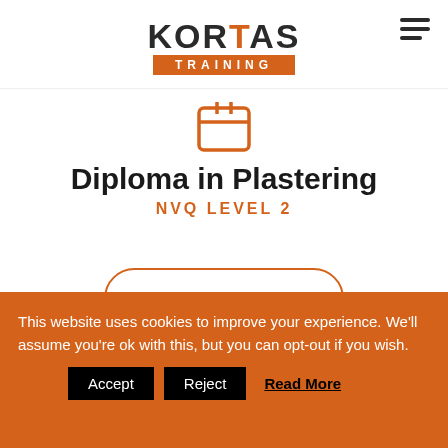[Figure (logo): Kortas Training logo with orange TRAINING bar below black KORTAS text]
[Figure (illustration): Orange outline icon of a plastering trowel or diploma/certificate symbol]
Diploma in Plastering
NVQ LEVEL 2
APPLY NOW
This website uses cookies to improve your experience. We'll assume you're ok with this, but you can opt-out if you wish.
Accept  Reject  Read More